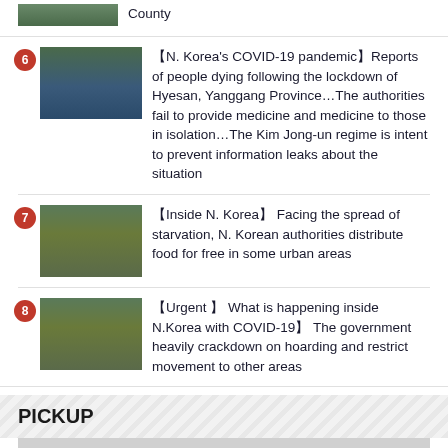County
【N. Korea's COVID-19 pandemic】Reports of people dying following the lockdown of Hyesan, Yanggang Province…The authorities fail to provide medicine and medicine to those in isolation…The Kim Jong-un regime is intent to prevent information leaks about the situation
【Inside N. Korea】 Facing the spread of starvation, N. Korean authorities distribute food for free in some urban areas
【Urgent 】 What is happening inside N.Korea with COVID-19】 The government heavily crackdown on hoarding and restrict movement to other areas
PICKUP